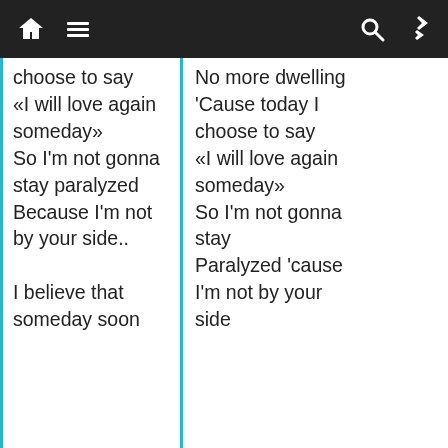Navigation bar with home, menu, search, and shuffle icons
choose to say «I will love again someday» So I'm not gonna stay paralyzed Because I'm not by your side..

I believe that someday soon
No more dwelling 'Cause today I choose to say «I will love again someday» So I'm not gonna stay Paralyzed 'cause I'm not by your side
Privacidad y cookies: este sitio utiliza cookies. Al continuar utilizando web, aceptas su uso. obtener más información, incluido cómo controlar las cookies
[Figure (infographic): Advertisement banner for RCI: 'Big Plans. Bigger Savings.' with Open button, showing family photo and RCI logo with 'Celebrating Future Travel' text]